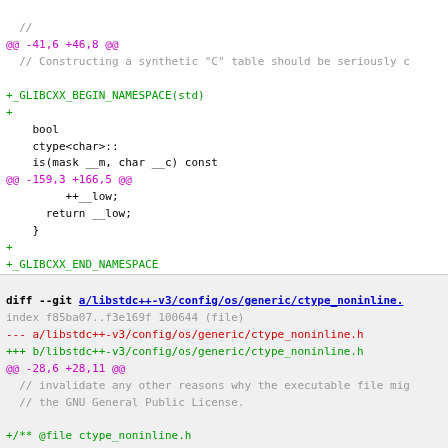//
@@ -41,6 +46,8 @@
 // Constructing a synthetic "C" table should be seriously c
+_GLIBCXX_BEGIN_NAMESPACE(std)
+
    bool
    ctype<char>::
    is(mask __m, char __c) const
@@ -159,3 +166,5 @@
         ++__low;
      return __low;
    }
+
+_GLIBCXX_END_NAMESPACE
diff --git a/libstdc++-v3/config/os/generic/ctype_noninline.
index f85ba07..f3e169f 100644 (file)
--- a/libstdc++-v3/config/os/generic/ctype_noninline.h
+++ b/libstdc++-v3/config/os/generic/ctype_noninline.h
@@ -28,6 +28,11 @@
 // invalidate any other reasons why the executable file mig
 // the GNU General Public License.

+/** @file ctype_noninline.h
+ *  This is an internal header file, included by other libr
+ *  You should not attempt to use it directly.
+ */
+
 //
 // ISO C++ 14882: 22.1  Locales